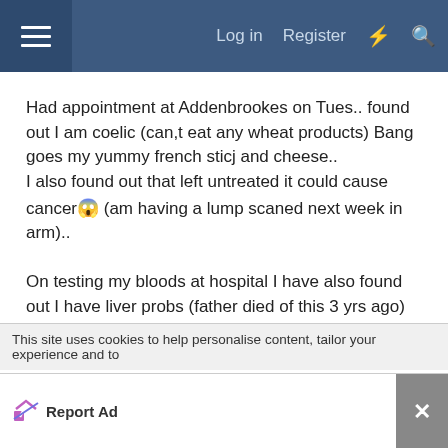Log in  Register
Had appointment at Addenbrookes on Tues.. found out I am coelic (can,t eat any wheat products) Bang goes my yummy french sticj and cheese..
I also found out that left untreated it could cause cancer😱 (am having a lump scaned next week in arm)..

On testing my bloods at hospital I have also found out I have liver probs (father died of this 3 yrs ago)😱😱

How much more bad news can I take.

Ohhh forgot cracked a tooth at weekend and am
This site uses cookies to help personalise content, tailor your experience and to
Report Ad